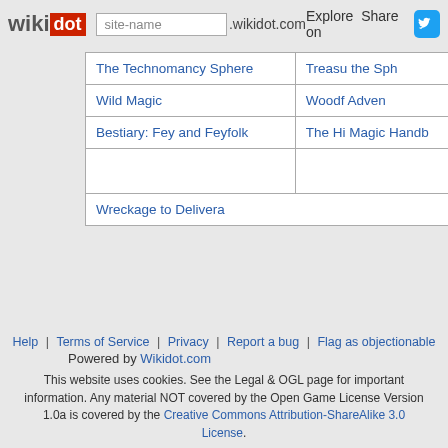wikidot | site-name .wikidot.com | Explore | Share on [Twitter]
|  |  |
| --- | --- |
| The Technomancy Sphere | Treasu the Sph |
| Wild Magic | Woodf Adven |
| Bestiary: Fey and Feyfolk | The Hi Magic Handb |
|  |  |
| Wreckage to Delivera |  |
U: Part of Ultimate Spheres of Power and does not need to be bought separately from that book
Help | Terms of Service | Privacy | Report a bug | Flag as objectionable
Powered by Wikidot.com
This website uses cookies. See the Legal & OGL page for important information. Any material NOT covered by the Open Game License Version 1.0a is covered by the Creative Commons Attribution-ShareAlike 3.0 License.